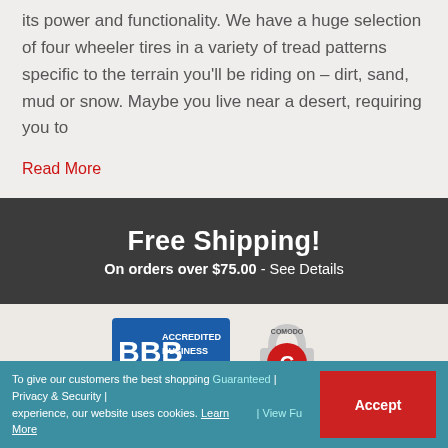its power and functionality. We have a huge selection of four wheeler tires in a variety of tread patterns specific to the terrain you'll be riding on – dirt, sand, mud or snow. Maybe you live near a desert, requiring you to
Read More
Free Shipping! On orders over $75.00 - See Details
[Figure (logo): BBB Accredited Business logo with BBB Rating: A+]
[Figure (logo): Comodo Secure lock badge]
Accept - Privacy & Security | Quick Cash | Return Policy | View Full...
© 2022 Rocky Mountain ATV, Inc.
To give our customers the best shopping experience, our website uses cookies. Learn More